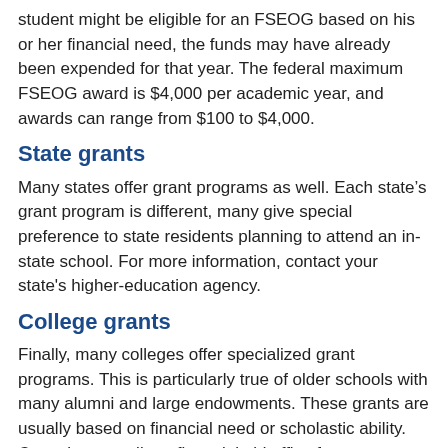student might be eligible for an FSEOG based on his or her financial need, the funds may have already been expended for that year. The federal maximum FSEOG award is $4,000 per academic year, and awards can range from $100 to $4,000.
State grants
Many states offer grant programs as well. Each state’s grant program is different, many give special preference to state residents planning to attend an in-state school. For more information, contact your state's higher-education agency.
College grants
Finally, many colleges offer specialized grant programs. This is particularly true of older schools with many alumni and large endowments. These grants are usually based on financial need or scholastic ability. Consult your college financial aid office for more details.
Source: U.S. Department of Education